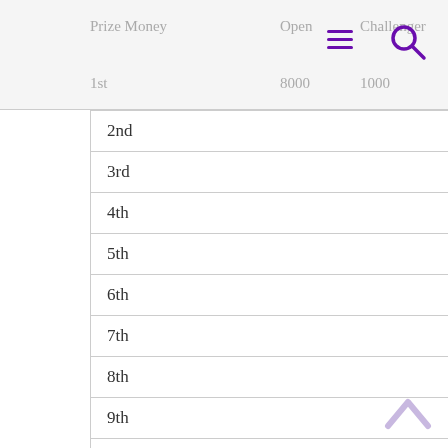Prize Money | Open | Challenger | 1st | 8000 | 1000
| Prize Money | Open | Challenger |
| --- | --- | --- |
| 1st | 8000 | 1000 |
| 2nd | 5000 | 800 |
| 3rd | 3000 | 600 |
| 4th | 2000 | 500 |
| 5th | 1000 | 400 |
| 6th | 800 | 400 |
| 7th | 700 | 300 |
| 8th | 650 | 300 |
| 9th | 600 | 300 |
| 10th | 550 | 300 |
| 11th – 12th each | 500 | 300 |